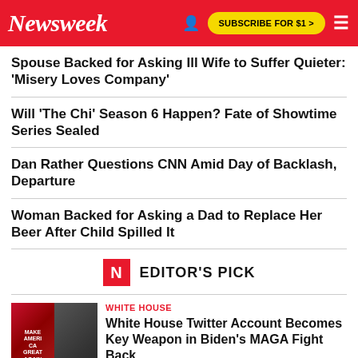Newsweek
Spouse Backed for Asking Ill Wife to Suffer Quieter: 'Misery Loves Company'
Will 'The Chi' Season 6 Happen? Fate of Showtime Series Sealed
Dan Rather Questions CNN Amid Day of Backlash, Departure
Woman Backed for Asking a Dad to Replace Her Beer After Child Spilled It
EDITOR'S PICK
WHITE HOUSE
White House Twitter Account Becomes Key Weapon in Biden's MAGA Fight Back
Joe Biden has changed his rhetoric towards Trump supporters after realizing he can not win over the die-hards, according to some experts.